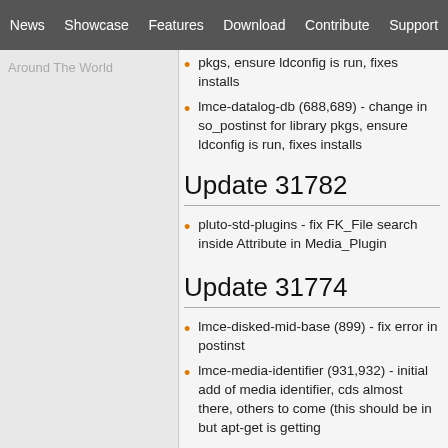News | Showcase | Features | Download | Contribute | Support
Around The World
lmce-datalog-db (688,689) - change in so_postinst for library pkgs, ensure ldconfig is run, fixes installs
lmce-datalog-db (688,689) - change in so_postinst for library pkgs, ensure ldconfig is run, fixes installs
Update 31782
pluto-std-plugins - fix FK_File search inside Attribute in Media_Plugin
Update 31774
lmce-disked-mid-base (899) - fix error in postinst
lmce-media-identifier (931,932) - initial add of media identifier, cds almost there, others to come (this should be in but apt-get is getting